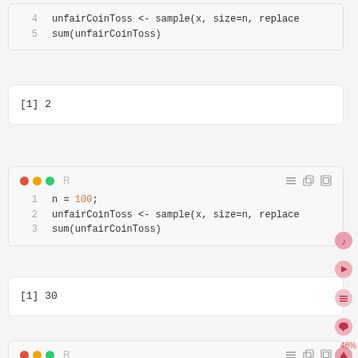[Figure (screenshot): Code block showing lines 4-5: unfairCoinToss <- sample(x, size=n, replace... and sum(unfairCoinToss)]
[Figure (screenshot): Output block showing [1] 2]
[Figure (screenshot): R code block with toolbar, lines 1-3: n = 100; unfairCoinToss <- sample(x, size=n, replace... sum(unfairCoinToss)]
[Figure (screenshot): Output block showing [1] 30]
[Figure (screenshot): Partial R code block toolbar at bottom]